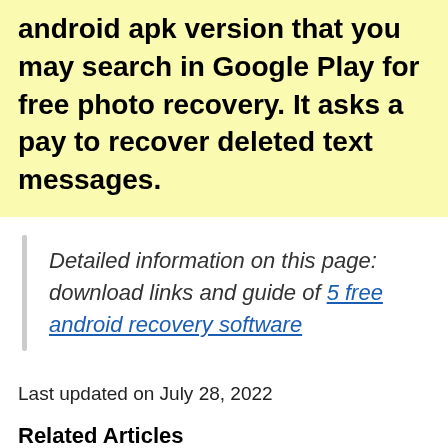android apk version that you may search in Google Play for free photo recovery. It asks a pay to recover deleted text messages.
Detailed information on this page: download links and guide of 5 free android recovery software
Last updated on July 28, 2022
Related Articles